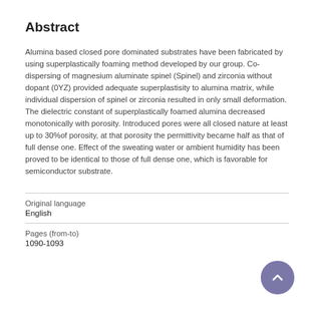Abstract
Alumina based closed pore dominated substrates have been fabricated by using superplastically foaming method developed by our group. Co-dispersing of magnesium aluminate spinel (Spinel) and zirconia without dopant (0YZ) provided adequate superplastisity to alumina matrix, while individual dispersion of spinel or zirconia resulted in only small deformation. The dielectric constant of superplastically foamed alumina decreased monotonically with porosity. Introduced pores were all closed nature at least up to 30%of porosity, at that porosity the permittivity became half as that of full dense one. Effect of the sweating water or ambient humidity has been proved to be identical to those of full dense one, which is favorable for semiconductor substrate.
Original language
English
Pages (from-to)
1090-1093